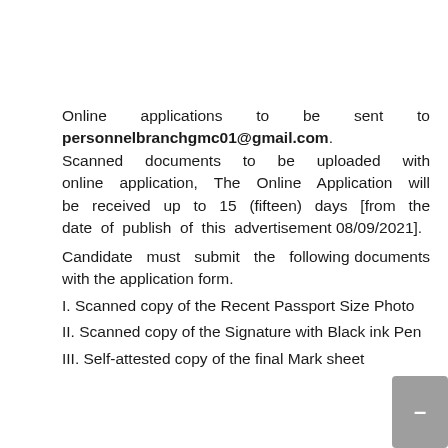Online applications to be sent to personnelbranchgmc01@gmail.com. Scanned documents to be uploaded with online application, The Online Application will be received up to 15 (fifteen) days [from the date of publish of this advertisement 08/09/2021].
Candidate must submit the following documents with the application form.
I. Scanned copy of the Recent Passport Size Photo
II. Scanned copy of the Signature with Black ink Pen
III. Self-attested copy of the final Mark sheet